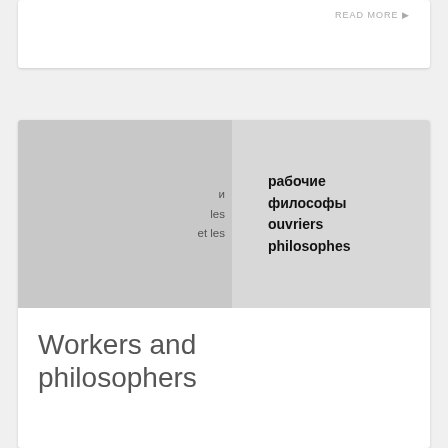READ MORE ▶
[Figure (illustration): Book cover for 'Workers and philosophers / рабочие философы / les ouvriers et les philosophes' — bilingual logo/title image with Russian and French text on a two-tone grey background]
Workers and philosophers
Workers and Philosophers Exhibition catalog Metafuturism Society for the Development of Contemporary Art Skolkovo Moscow School of Management The authors of the texts...